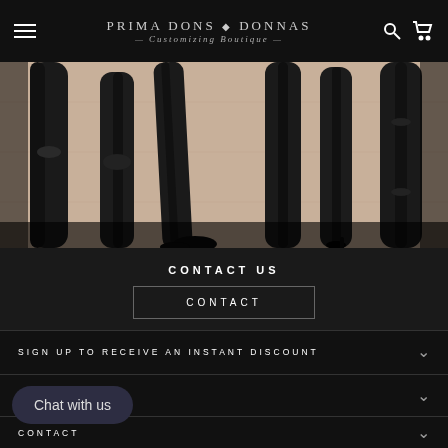Prima Dons Donnas — Customizing Boutique —
[Figure (photo): Cropped photo of multiple people wearing black leather pants/leggings and high heels, showing legs from waist down against a light background.]
CONTACT US
CONTACT
SIGN UP TO RECEIVE AN INSTANT DISCOUNT
QUICK LINKS
CONTACT
Chat with us